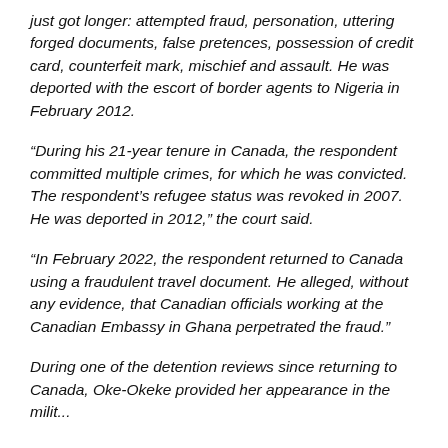just got longer: attempted fraud, personation, uttering forged documents, false pretences, possession of credit card, counterfeit mark, mischief and assault. He was deported with the escort of border agents to Nigeria in February 2012.
“During his 21-year tenure in Canada, the respondent committed multiple crimes, for which he was convicted. The respondent’s refugee status was revoked in 2007. He was deported in 2012,” the court said.
“In February 2022, the respondent returned to Canada using a fraudulent travel document. He alleged, without any evidence, that Canadian officials working at the Canadian Embassy in Ghana perpetrated the fraud.”
During one of the detention reviews since returning to Canada, Oke-Okeke provided her appearance in the militia...